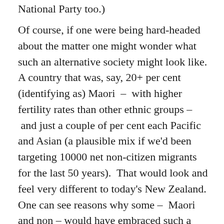National Party too.)
Of course, if one were being hard-headed about the matter one might wonder what such an alternative society might look like.  A country that was, say, 20+ per cent (identifying as) Maori  –  with higher fertility rates than other ethnic groups –  and just a couple of per cent each Pacific and Asian (a plausible mix if we'd been targeting 10000 net non-citizen migrants for the last 50 years).  That would look and feel very different to today's New Zealand.  One can see reasons why some –  Maori and non – would have embraced such a mix.  But, realistically, one can also see reason why for some European New Zealanders it might have been more of an impetus to have followed the